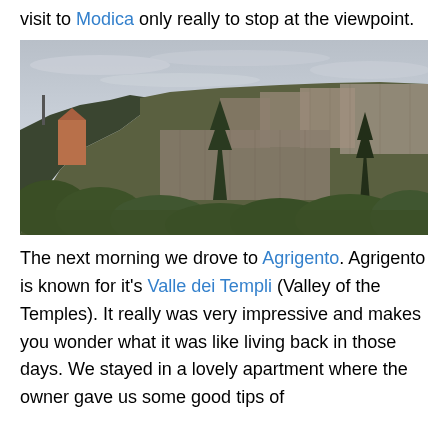visit to Modica only really to stop at the viewpoint.
[Figure (photo): Panoramic view of Modica, Sicily, showing the hillside town with densely packed historic buildings, trees in the foreground, and a cloudy sky.]
The next morning we drove to Agrigento. Agrigento is known for it's Valle dei Templi (Valley of the Temples). It really was very impressive and makes you wonder what it was like living back in those days. We stayed in a lovely apartment where the owner gave us some good tips of